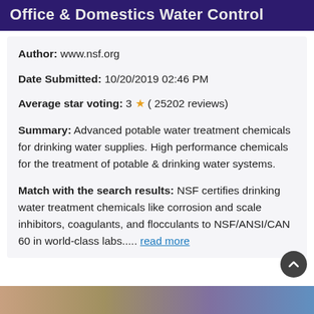Office & Domestics Water Control
Author: www.nsf.org
Date Submitted: 10/20/2019 02:46 PM
Average star voting: 3 ★ ( 25202 reviews)
Summary: Advanced potable water treatment chemicals for drinking water supplies. High performance chemicals for the treatment of potable & drinking water systems.
Match with the search results: NSF certifies drinking water treatment chemicals like corrosion and scale inhibitors, coagulants, and flocculants to NSF/ANSI/CAN 60 in world-class labs..... read more
[Figure (photo): Partial bottom image strip showing a water-related scene]